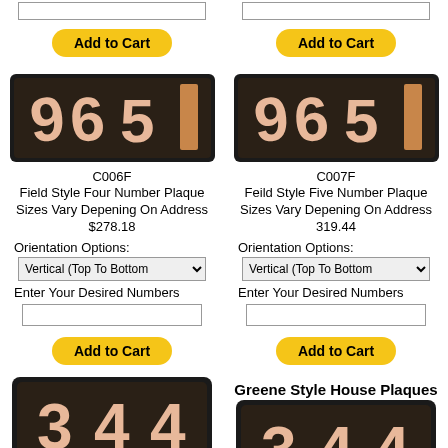[Figure (photo): Input box (top left, partial)]
[Figure (photo): Input box (top right, partial)]
Add to Cart
Add to Cart
[Figure (photo): C006F Field Style Four Number Plaque showing 9651 on dark background with copper/pink letters]
[Figure (photo): C007F Feild Style Five Number Plaque showing 9651 on dark background with copper/pink letters]
C006F
Field Style Four Number Plaque
Sizes Vary Depening On Address
$278.18
Orientation Options:
Vertical (Top To Bottom
Enter Your Desired Numbers
C007F
Feild Style Five Number Plaque
Sizes Vary Depening On Address
319.44
Orientation Options:
Vertical (Top To Bottom
Enter Your Desired Numbers
Add to Cart
Add to Cart
Greene Style House Plaques
[Figure (photo): Greene style plaque showing 344 with light pink/copper numbers on dark background]
[Figure (photo): Greene style plaque showing 344 with light pink/copper numbers on dark background]